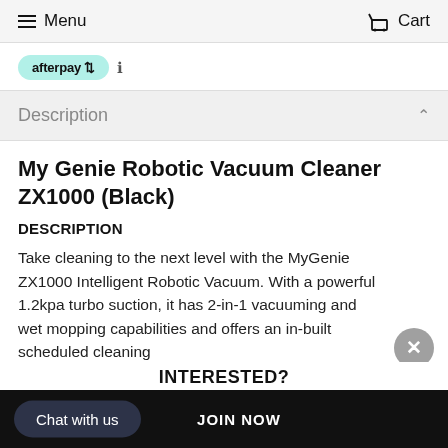Menu   Cart
afterpay ℹ
Description
My Genie Robotic Vacuum Cleaner ZX1000 (Black)
DESCRIPTION
Take cleaning to the next level with the MyGenie ZX1000 Intelligent Robotic Vacuum. With a powerful 1.2kpa turbo suction, it has 2-in-1 vacuuming and wet mopping capabilities and offers an in-built scheduled cleaning
INTERESTED?
Chat with us   JOIN NOW